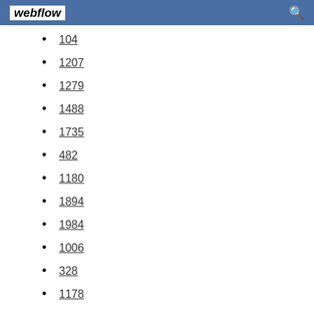webflow
104
1207
1279
1488
1735
482
1180
1894
1984
1006
328
1178